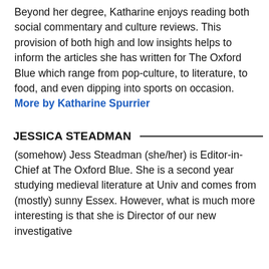Beyond her degree, Katharine enjoys reading both social commentary and culture reviews. This provision of both high and low insights helps to inform the articles she has written for The Oxford Blue which range from pop-culture, to literature, to food, and even dipping into sports on occasion. More by Katharine Spurrier
JESSICA STEADMAN
(somehow) Jess Steadman (she/her) is Editor-in-Chief at The Oxford Blue. She is a second year studying medieval literature at Univ and comes from (mostly) sunny Essex. However, what is much more interesting is that she is Director of our new investigative